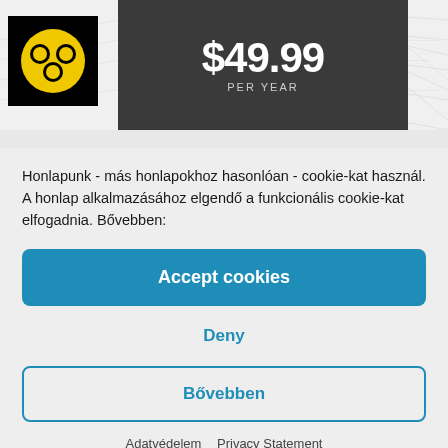[Figure (logo): Yellow circular logo with three overlapping circles on black background]
$49.99 PER YEAR
Honlapunk - más honlapokhoz hasonlóan - cookie-kat használ. A honlap alkalmazásához elgendő a funkcionális cookie-kat elfogadnia. Bővebben:
Accept cookies
Deny
Bővebben
Adatvédelem  Privacy Statement